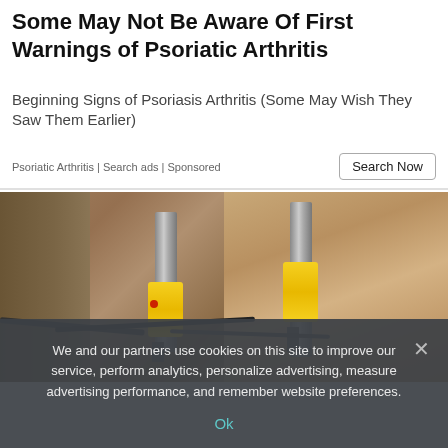Some May Not Be Aware Of First Warnings of Psoriatic Arthritis
Beginning Signs of Psoriasis Arthritis (Some May Wish They Saw Them Earlier)
Psoriatic Arthritis | Search ads | Sponsored
[Figure (photo): Construction photo showing hydraulic jacking cylinders with yellow bodies mounted against a concrete foundation wall, with cables and hoses in an excavated area]
We and our partners use cookies on this site to improve our service, perform analytics, personalize advertising, measure advertising performance, and remember website preferences.
Ok